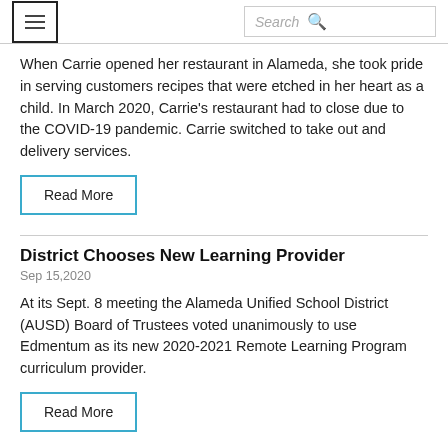When Carrie opened her restaurant in Alameda, she took pride in serving customers recipes that were etched in her heart as a child. In March 2020, Carrie’s restaurant had to close due to the COVID-19 pandemic. Carrie switched to take out and delivery services.
Read More
District Chooses New Learning Provider
Sep 15,2020
At its Sept. 8 meeting the Alameda Unified School District (AUSD) Board of Trustees voted unanimously to use Edmentum as its new 2020-2021 Remote Learning Program curriculum provider.
Read More